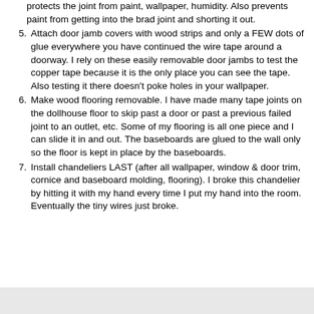protects the joint from paint, wallpaper, humidity.  Also prevents paint from getting into the brad joint and shorting it out.
5.  Attach door jamb covers with wood strips and only a FEW dots of glue everywhere you have continued the wire tape around a doorway.  I rely on these easily removable door jambs to test the copper tape because it is the only place you can see the tape.  Also testing it there doesn’t poke holes in your wallpaper.
6.  Make wood flooring removable.  I have made many tape joints on the dollhouse floor to skip past a door or past a previous failed joint to an outlet, etc.  Some of my flooring is all one piece and I can slide it in and out.  The baseboards are glued to the wall only so the floor is kept in place by the baseboards.
7.  Install chandeliers LAST (after all wallpaper, window & door trim, cornice and baseboard molding, flooring). I broke this chandelier by hitting it with my hand every time I put my hand into the room.  Eventually the tiny wires just broke.